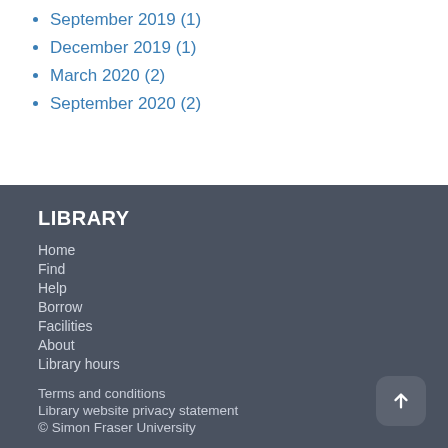September 2019 (1)
December 2019 (1)
March 2020 (2)
September 2020 (2)
LIBRARY
Home
Find
Help
Borrow
Facilities
About
Library hours
Terms and conditions
Library website privacy statement
© Simon Fraser University
CONNECT